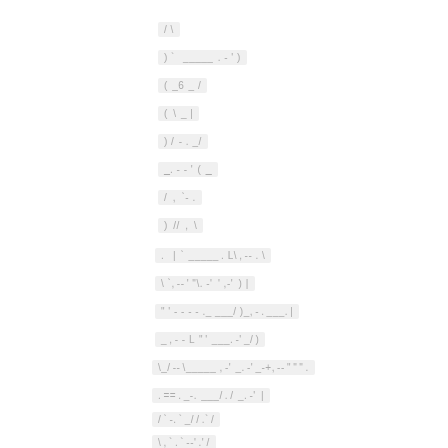/ \
) ` _____ . - ' )
( _6 _ /
( \ _ |
) / - . _/
_. - - ' ( _
/ , `- .
) // , \
. | ` _____ . L \ , - - . \
\ `, - - ' "\. - ' ' , - ' ) |
" ' - - - - . _ ___/ ) _, - . ___. |
_ , - - L " ' ___ . - ' _/ )
\ _/ - - \_____ , - ' _ . - ' _ - + , - - " " " .
. == . _- . ___/ . / _ . - ' |
/ ` - . ` _/ / . ` /
\ , ` . ` - - ' . ' /